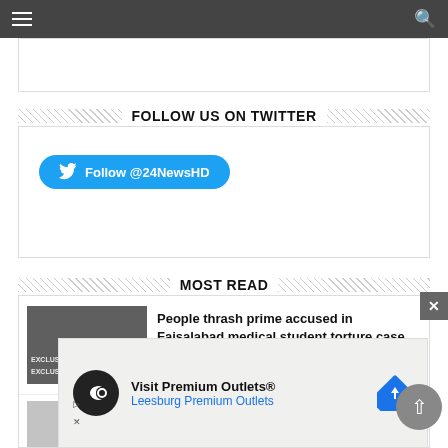Navigation bar with hamburger menu and search icon
FOLLOW US ON TWITTER
[Figure (infographic): Twitter follow button with bird icon labeled Follow @24NewsHD on blue rounded button]
MOST READ
[Figure (photo): Thumbnail image of people with EXCLUSIVE watermark overlay]
People thrash prime accused in Faisalabad medical student torture case
[Figure (infographic): Advertisement overlay: Visit Premium Outlets® Leesburg Premium Outlets with logo and direction sign icon]